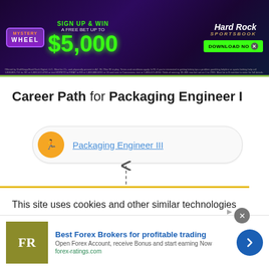[Figure (other): Top advertisement banner for Hard Rock Sportsbook Mystery Wheel promotion — sign up and win a free bet up to $5,000, with download button]
[Figure (flowchart): Career path diagram showing Packaging Engineer III node (yellow icon) connected by a dashed upward arrow to a second partially-visible node (green icon), indicating a career progression path for Packaging Engineer I]
Career Path for Packaging Engineer I
Packaging Engineer III
This site uses cookies and other similar technologies to provide site functionality, analyze traffic and usage, and
[Figure (other): Bottom advertisement for Best Forex Brokers — FR logo, title 'Best Forex Brokers for profitable trading', description 'Open Forex Account, receive Bonus and start earning Now', url 'forex-ratings.com', blue arrow button, close X button]